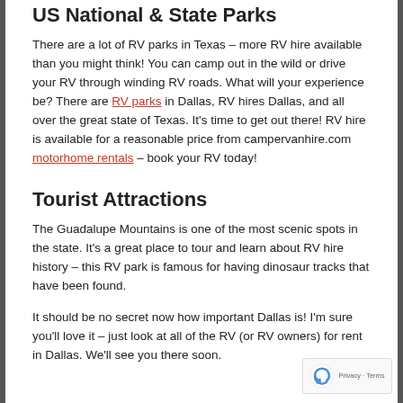US National & State Parks
There are a lot of RV parks in Texas – more RV hire available than you might think! You can camp out in the wild or drive your RV through winding RV roads. What will your experience be? There are RV parks in Dallas, RV hires Dallas, and all over the great state of Texas. It's time to get out there! RV hire is available for a reasonable price from campervanhire.com motorhome rentals – book your RV today!
Tourist Attractions
The Guadalupe Mountains is one of the most scenic spots in the state. It's a great place to tour and learn about RV hire history – this RV park is famous for having dinosaur tracks that have been found.
It should be no secret now how important Dallas is! I'm sure you'll love it – just look at all of the RV (or RV owners) for rent in Dallas. We'll see you there soon.